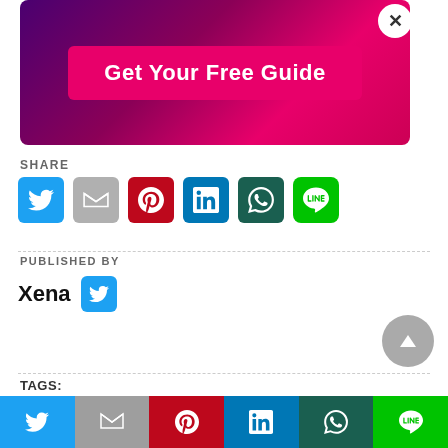[Figure (other): Advertisement banner with pink/purple gradient background and 'Get Your Free Guide' button, with a close (×) button in the top right corner]
SHARE
[Figure (other): Row of social share icon buttons: Twitter (blue), Gmail (gray), Pinterest (red), LinkedIn (blue), WhatsApp (dark green), LINE (green)]
PUBLISHED BY
Xena (with Twitter icon)
TAGS:
[Figure (other): Bottom social share bar with Twitter, Gmail, Pinterest, LinkedIn, WhatsApp, and LINE icons]